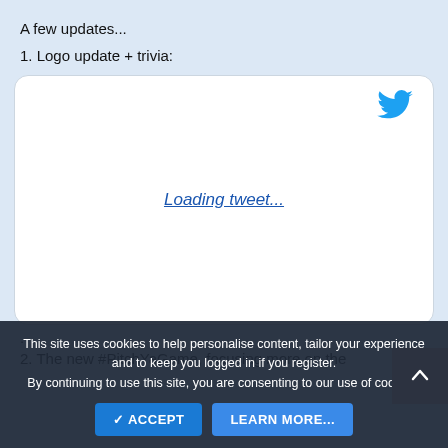A few updates...
1. Logo update + trivia:
[Figure (screenshot): Embedded tweet card with Twitter bird logo and 'Loading tweet...' link in center]
.
2. The new #PitchYaGame, focusing more on the
This site uses cookies to help personalise content, tailor your experience and to keep you logged in if you register. By continuing to use this site, you are consenting to our use of cookies.